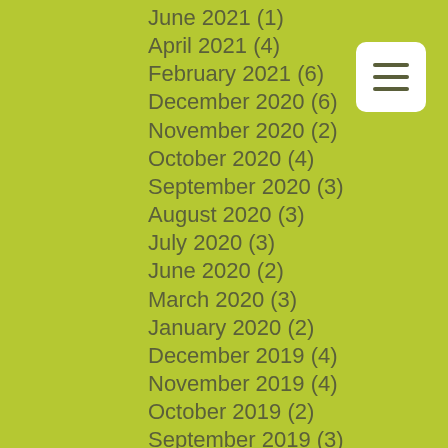June 2021 (1)
April 2021 (4)
February 2021 (6)
December 2020 (6)
November 2020 (2)
October 2020 (4)
September 2020 (3)
August 2020 (3)
July 2020 (3)
June 2020 (2)
March 2020 (3)
January 2020 (2)
December 2019 (4)
November 2019 (4)
October 2019 (2)
September 2019 (3)
August 2019 (5)